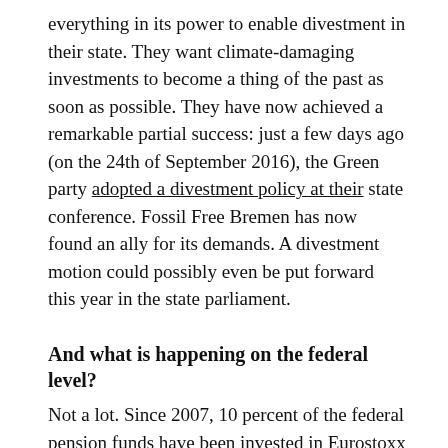everything in its power to enable divestment in their state. They want climate-damaging investments to become a thing of the past as soon as possible. They have now achieved a remarkable partial success: just a few days ago (on the 24th of September 2016), the Green party adopted a divestment policy at their state conference. Fossil Free Bremen has now found an ally for its demands. A divestment motion could possibly even be put forward this year in the state parliament.
And what is happening on the federal level?
Not a lot. Since 2007, 10 percent of the federal pension funds have been invested in Eurostoxx 50, and in 2008 the funds of the Employment Ministry were added. Eurostoxx 50 includes, with Total, Repsol and ENI, three corporations whose profits primarily come from fossil fuels. According to a